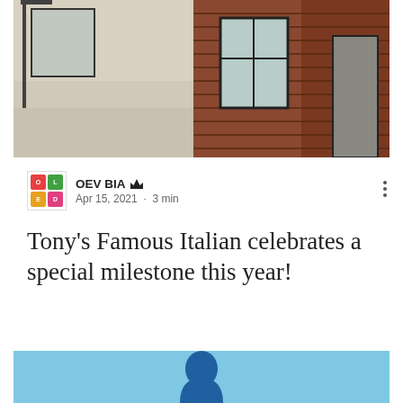[Figure (photo): Street-level photo of a brick building storefront with sidewalk and large windows]
OEV BIA 👑
Apr 15, 2021 · 3 min
Tony's Famous Italian celebrates a special milestone this year!
Over the past few weeks, we've been taking a look at and highlighting Old East Village businesses who celebrate some very special...
1,209  2  8 ♥
[Figure (photo): Bottom preview image with blue background and partial figure]